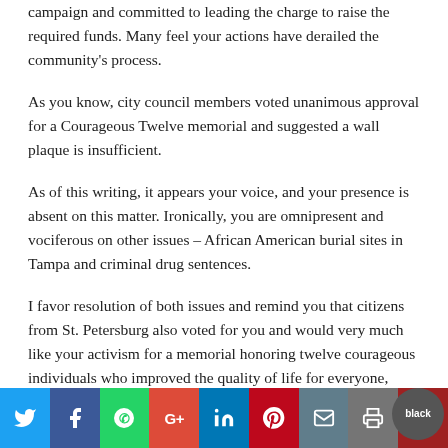campaign and committed to leading the charge to raise the required funds. Many feel your actions have derailed the community's process.
As you know, city council members voted unanimous approval for a Courageous Twelve memorial and suggested a wall plaque is insufficient.
As of this writing, it appears your voice, and your presence is absent on this matter. Ironically, you are omnipresent and vociferous on other issues – African American burial sites in Tampa and criminal drug sentences.
I favor resolution of both issues and remind you that citizens from St. Petersburg also voted for you and would very much like your activism for a memorial honoring twelve courageous individuals who improved the quality of life for everyone, black...
[Figure (infographic): Social sharing buttons bar: Twitter (blue), Facebook (dark blue), WhatsApp (green), Google+ (red), LinkedIn (teal), Pinterest (dark red), Email (grey-blue), Print (grey), More (dark red circle)]